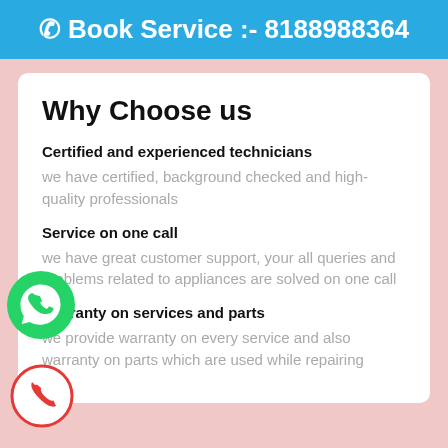Book Service :- 8188988364
Why Choose us
Certified and experienced technicians
we have certified, background checked and high-quality professionals
Service on one call
we have great customer support, your all queries and problems related to appliances are solved on one call
Warranty on services and parts
we provide warranty on every service and also warranty on parts which are used while repairing
[Figure (illustration): Green WhatsApp icon button]
[Figure (illustration): Red phone call icon button in circle outline]